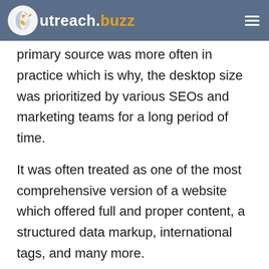OutreachBuzz navigation bar with logo
primary source was more often in practice which is why, the desktop size was prioritized by various SEOs and marketing teams for a long period of time.
It was often treated as one of the most comprehensive version of a website which offered full and proper content, a structured data markup, international tags, and many more.
But now, the time has changed, bringing about the use of mobile not as an alternative but as a necessity which is why the mobile-first indexing is a major step taken towards the betterment of